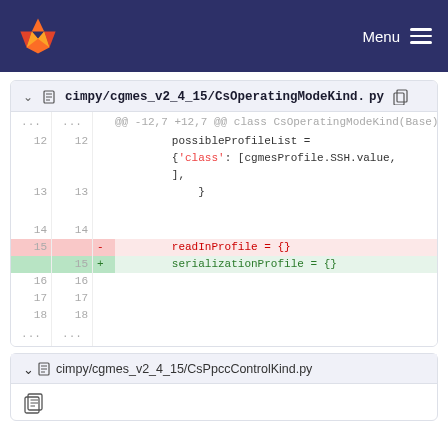Menu
cimpy/cgmes_v2_4_15/CsOperatingModeKind.py
[Figure (screenshot): Git diff view showing file cimpy/cgmes_v2_4_15/CsOperatingModeKind.py. Lines 12-18 shown. Line 15 removed: readInProfile = {} and line 15 added: serializationProfile = {}]
cimpy/cgmes_v2_4_15/CsPpccControlKind.py